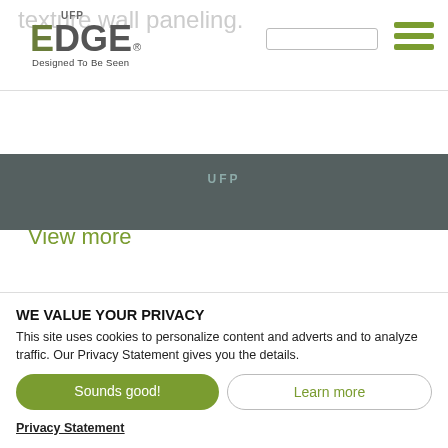[Figure (logo): UFP EDGE logo with tagline 'Designed To Be Seen' in olive/grey colors]
texture wall paneling.
View more
[Figure (screenshot): Dark grey website footer stripe with UFP text]
WE VALUE YOUR PRIVACY
This site uses cookies to personalize content and adverts and to analyze traffic. Our Privacy Statement gives you the details.
Sounds good!
Learn more
Privacy Statement